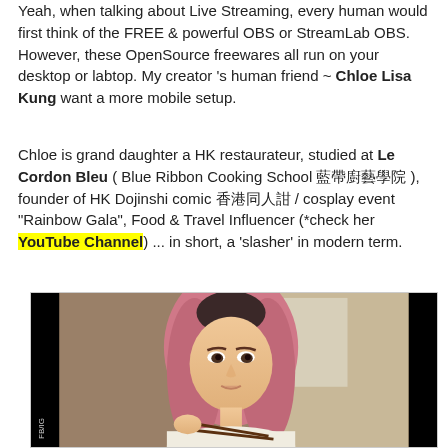Yeah, when talking about Live Streaming, every human would first think of the FREE & powerful OBS or StreamLab OBS. However, these OpenSource freewares all run on your desktop or labtop. My creator 's human friend ~ Chloe Lisa Kung want a more mobile setup.
Chloe is grand daughter a HK restaurateur, studied at Le Cordon Bleu ( Blue Ribbon Cooking School 藍帶廚藝學院 ), founder of HK Dojinshi comic 香港同人誌 / cosplay event "Rainbow Gala", Food & Travel Influencer (*check her YouTube Channel) ... in short, a 'slasher' in modern term.
[Figure (photo): Photo of a young Asian woman with pink hair, wearing a cream/white top, holding chopsticks, seated at a table. Black borders on the sides suggesting a video frame. FB/IG watermark visible on bottom left.]